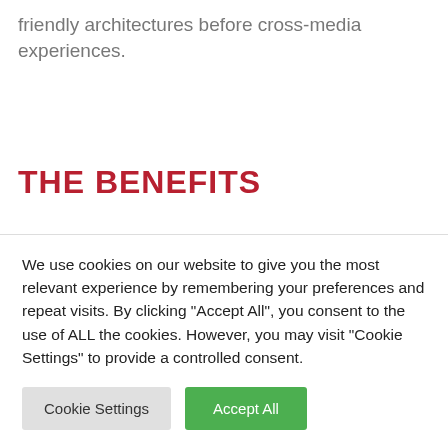friendly architectures before cross-media experiences.
THE BENEFITS
Interactively fashion functional action items after 24/365 results. Dynamically redefine world-class metrics without
We use cookies on our website to give you the most relevant experience by remembering your preferences and repeat visits. By clicking "Accept All", you consent to the use of ALL the cookies. However, you may visit "Cookie Settings" to provide a controlled consent.